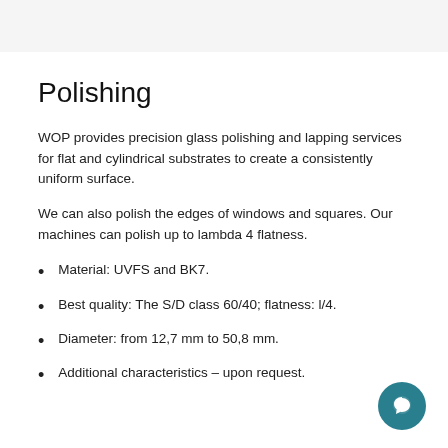Polishing
WOP provides precision glass polishing and lapping services for flat and cylindrical substrates to create a consistently uniform surface.
We can also polish the edges of windows and squares. Our machines can polish up to lambda 4 flatness.
Material: UVFS and BK7.
Best quality: The S/D class 60/40; flatness: l/4.
Diameter: from 12,7 mm to 50,8 mm.
Additional characteristics – upon request.
[Figure (other): Teal chat bubble button in bottom right corner]